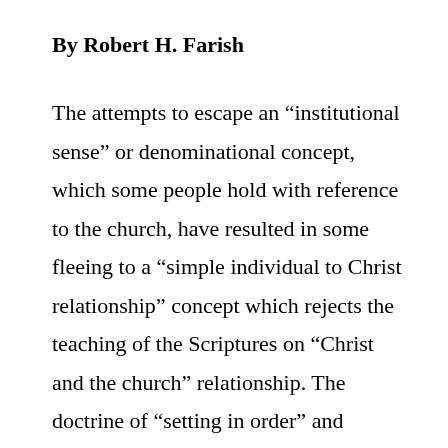By Robert H. Farish
The attempts to escape an “institutional sense” or denominational concept, which some people hold with reference to the church, have resulted in some fleeing to a “simple individual to Christ relationship” concept which rejects the teaching of the Scriptures on “Christ and the church” relationship. The doctrine of “setting in order” and “appoint(ing) elders in every city” and “in every church” is explained away – the